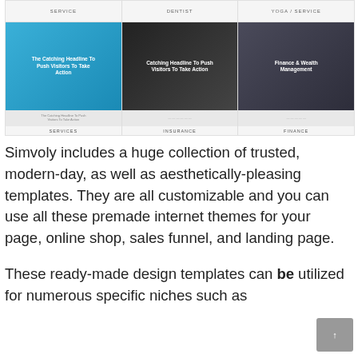[Figure (screenshot): Gallery of website template thumbnails in a grid layout showing six template previews labeled SERVICE (top), DENTIST (top), YOGA/SERVICE (top), SERVICES (bottom left, blue background with headline text), INSURANCE (bottom middle, dark background with headline text), and FINANCE (bottom right, dark background with Finance & Wealth Management text)]
Simvoly includes a huge collection of trusted, modern-day, as well as aesthetically-pleasing templates. They are all customizable and you can use all these premade internet themes for your page, online shop, sales funnel, and landing page.
These ready-made design templates can be utilized for numerous specific niches such as